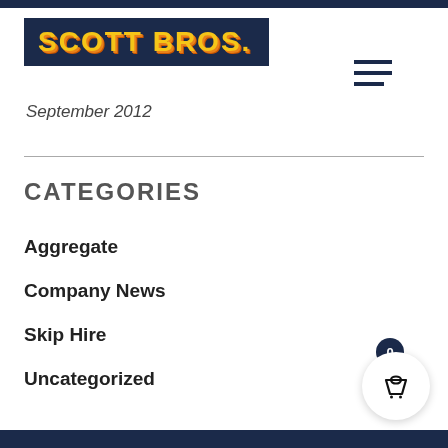[Figure (logo): Scott Bros. logo — yellow bold text on dark navy background]
September 2012
CATEGORIES
Aggregate
Company News
Skip Hire
Uncategorized